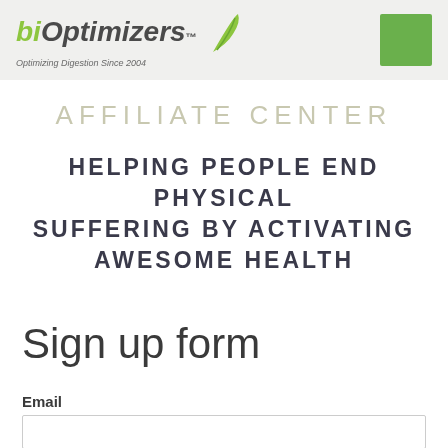[Figure (logo): biOptimizers logo with green leaf icon and tagline 'Optimizing Digestion Since 2004', plus a green square button on the right]
AFFILIATE CENTER
HELPING PEOPLE END PHYSICAL SUFFERING BY ACTIVATING AWESOME HEALTH
Sign up form
Email